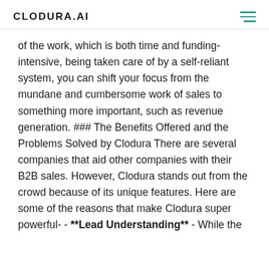CLODURA.AI
of the work, which is both time and funding-intensive, being taken care of by a self-reliant system, you can shift your focus from the mundane and cumbersome work of sales to something more important, such as revenue generation. ### The Benefits Offered and the Problems Solved by Clodura There are several companies that aid other companies with their B2B sales. However, Clodura stands out from the crowd because of its unique features. Here are some of the reasons that make Clodura super powerful- - **Lead Understanding** - While the